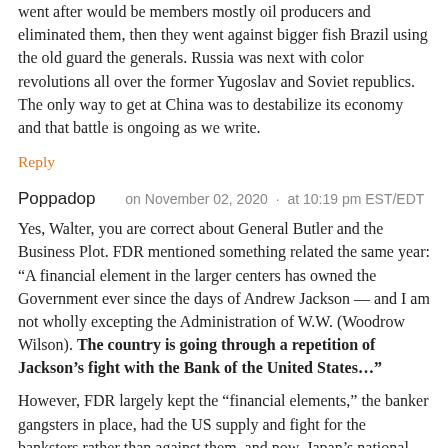went after would be members mostly oil producers and eliminated them, then they went against bigger fish Brazil using the old guard the generals. Russia was next with color revolutions all over the former Yugoslav and Soviet republics. The only way to get at China was to destabilize its economy and that battle is ongoing as we write.
Reply
Poppadop   on November 02, 2020  ·  at 10:19 pm EST/EDT
Yes, Walter, you are correct about General Butler and the Business Plot. FDR mentioned something related the same year: “A financial element in the larger centers has owned the Government ever since the days of Andrew Jackson — and I am not wholly excepting the Administration of W.W. (Woodrow Wilson). The country is going through a repetition of Jackson’s fight with the Bank of the United States…”
However, FDR largely kept the “financial elements,” the banker gangsters in place, had the US supply and fight for the banksters rather than against them, and now, Japan’s national debt is a ridiculous 240% of GDP (Russia’s is currently around 13%) while